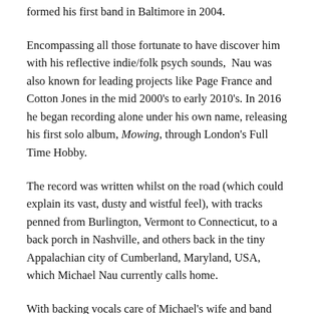formed his first band in Baltimore in 2004.
Encompassing all those fortunate to have discover him with his reflective indie/folk psych sounds,  Nau was also known for leading projects like Page France and Cotton Jones in the mid 2000's to early 2010's. In 2016 he began recording alone under his own name, releasing his first solo album, Mowing, through London's Full Time Hobby.
The record was written whilst on the road (which could explain its vast, dusty and wistful feel), with tracks penned from Burlington, Vermont to Connecticut, to a back porch in Nashville, and others back in the tiny Appalachian city of Cumberland, Maryland, USA, which Michael Nau currently calls home.
With backing vocals care of Michael's wife and band mate Whitney McGraw, lead single Love Survive has an